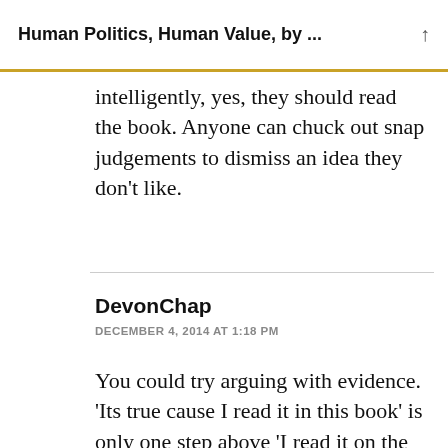Human Politics, Human Value, by ...
intelligently, yes, they should read the book. Anyone can chuck out snap judgements to dismiss an idea they don't like.
DevonChap
DECEMBER 4, 2014 AT 1:18 PM
You could try arguing with evidence. 'Its true cause I read it in this book' is only one step above 'I read it on the internet'.